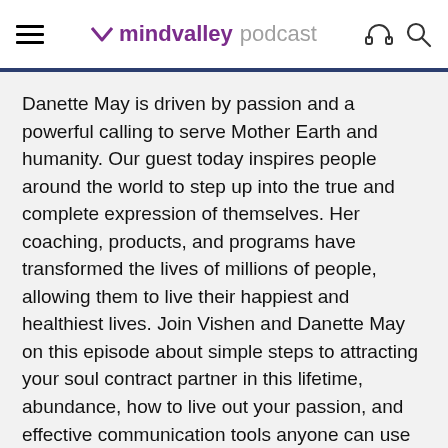mindvalley podcast
Danette May is driven by passion and a powerful calling to serve Mother Earth and humanity. Our guest today inspires people around the world to step up into the true and complete expression of themselves. Her coaching, products, and programs have transformed the lives of millions of people, allowing them to live their happiest and healthiest lives. Join Vishen and Danette May on this episode about simple steps to attracting your soul contract partner in this lifetime, abundance, how to live out your passion, and effective communication tools anyone can use to avoid walls in any relationship and get the love you desire.
Danette is the Co-founder and CCO of Mindful Health LLC and Earth Echo Foods, best-selling author of The Rise and Embrace Abundance, founder of The Rise